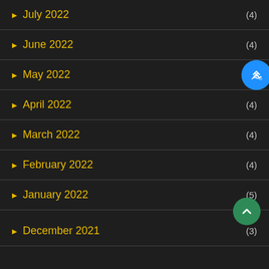▶ July 2022 (4)
▶ June 2022 (4)
▶ May 2022
▶ April 2022 (4)
▶ March 2022 (4)
▶ February 2022 (4)
▶ January 2022 (5)
▶ December 2021 (3)